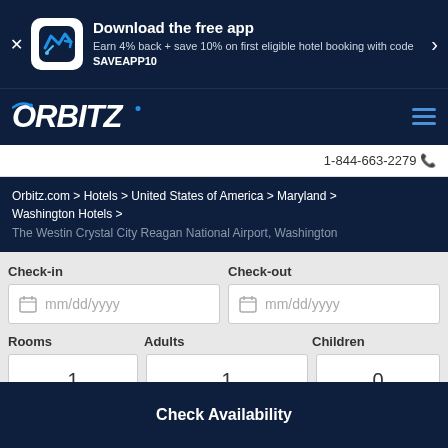[Figure (screenshot): Orbitz app download banner with logo icon, close button, and arrow]
Download the free app
Earn 4% back + save 10% on first eligible hotel booking with code SAVEAPP10
[Figure (logo): Orbitz logo in white italic letters on dark navy background]
1-844-663-2279
Orbitz.com > Hotels > United States of America > Maryland > Washington Hotels >
The Westin Crystal City Reagan National Airport, Washington
Check-in
Check-out
mm/dd/yyyy
mm/dd/yyyy
Rooms
Adults
Children
1
1
0
Check Availability